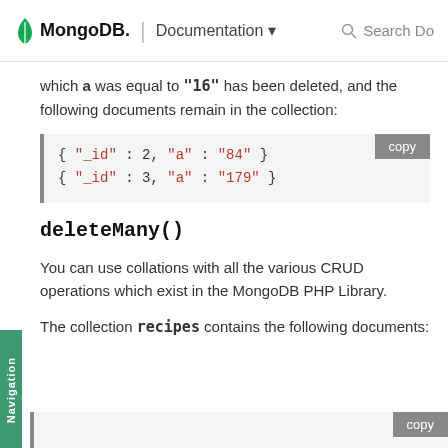MongoDB. | Documentation   Search Do
which a was equal to "16" has been deleted, and the following documents remain in the collection:
[Figure (screenshot): Code block showing two MongoDB documents: { "_id" : 2, "a" : "84" } and { "_id" : 3, "a" : "179" } with a copy button]
deleteMany()
You can use collations with all the various CRUD operations which exist in the MongoDB PHP Library.
The collection recipes contains the following documents:
[Figure (screenshot): Bottom of another code block with copy button visible]